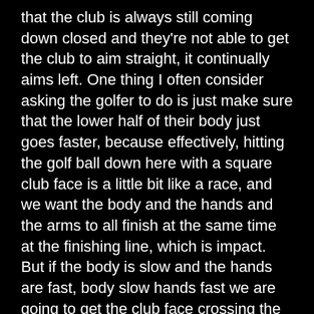that the club is always still coming down closed and they're not able to get the club to aim straight, it continually aims left. One thing I often consider asking the golfer to do is just make sure that the lower half of their body just goes faster, because effectively, hitting the golf ball down here with a square club face is a little bit like a race, and we want the body and the hands and the arms to all finish at the same time at the finishing line, which is impact. But if the body is slow and the hands are fast, body slow hands fast we are going to get the club face crossing the finishing line first in a closed position.
So we would often say to the golfer,"okay, well slow your hands down" but the problem with that is actually just takes power out of the swing. So what do we to the the swinging "slow your hands down"